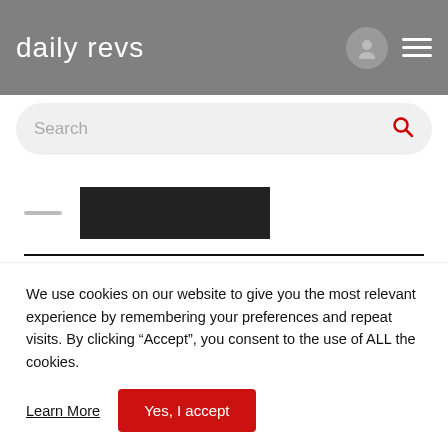daily revs
Search
[Figure (screenshot): Partially visible car image placeholder (dark rectangle) with a small dash/line to the left]
About the Car
2020 Kia Sportage JBL Black Edition
We use cookies on our website to give you the most relevant experience by remembering your preferences and repeat visits. By clicking “Accept”, you consent to the use of ALL the cookies.
Learn More
Yes, I accept